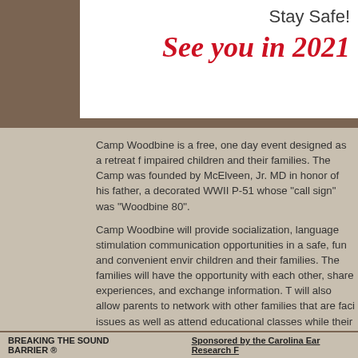Stay Safe!
See you in 2021
Camp Woodbine is a free, one day event designed as a retreat for hearing impaired children and their families. The Camp was founded by J. Hartwell McElveen, Jr. MD in honor of his father, a decorated WWII P-51 pilot whose "call sign" was "Woodbine 80".
Camp Woodbine will provide socialization, language stimulation and communication opportunities in a safe, fun and convenient environment for children and their families. The families will have the opportunity to interact with each other, share experiences, and exchange information. The Camp will also allow parents to network with other families that are facing similar issues as well as attend educational classes while their children participate in camp activities.
Other groups, including children with disabilities, pediatric cancer patients and children facing other life-threatening or debilitating ailments are invited to utilize the camp.
Camp Woodbine is about making new friends, sharing experiences, strengthening the family unit through better communication, making lasting memories and not worrying about being different due to disabilities.
BREAKING THE SOUND BARRIER ®    Sponsored by the Carolina Ear Research F